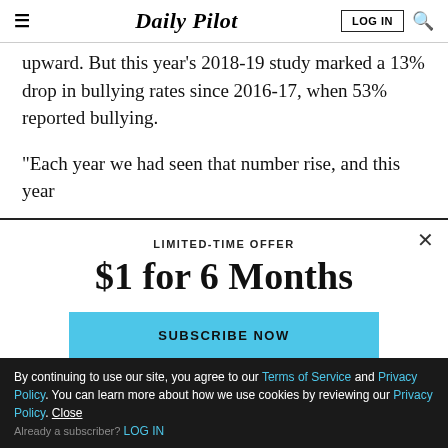Daily Pilot
upward. But this year’s 2018-19 study marked a 13% drop in bullying rates since 2016-17, when 53% reported bullying.
“Each year we had seen that number rise, and this year
LIMITED-TIME OFFER
$1 for 6 Months
SUBSCRIBE NOW
By continuing to use our site, you agree to our Terms of Service and Privacy Policy. You can learn more about how we use cookies by reviewing our Privacy Policy. Close
Already a subscriber? LOG IN